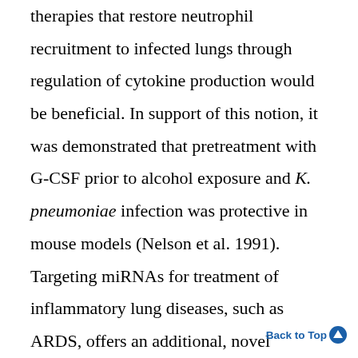therapies that restore neutrophil recruitment to infected lungs through regulation of cytokine production would be beneficial. In support of this notion, it was demonstrated that pretreatment with G-CSF prior to alcohol exposure and K. pneumoniae infection was protective in mouse models (Nelson et al. 1991). Targeting miRNAs for treatment of inflammatory lung diseases, such as ARDS, offers an additional, novel therapeutic approach because the production of several miRNAs, including miR-9, miR-146a, miR-147, miR-148, and miR-152, was induced by LPS stimulation in mouse lungs (Bazzoni et al. 2009; Liu et al. 200, 2010, Namu
Back to Top